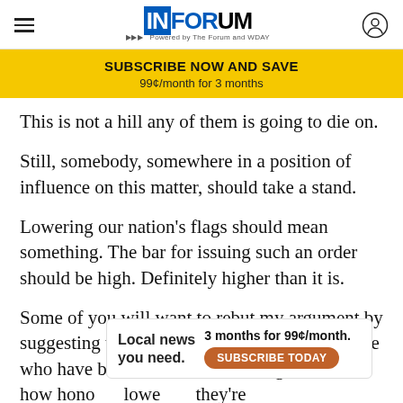INFORUM — Powered by The Forum and WDAY
SUBSCRIBE NOW AND SAVE
99¢/month for 3 months
This is not a hill any of them is going to die on.
Still, somebody, somewhere in a position of influence on this matter, should take a stand.
Lowering our nation's flags should mean something. The bar for issuing such an order should be high. Definitely higher than it is.
Some of you will want to rebut my argument by suggesting that I'm somehow diminishing those who have been honored with this gesture, but how honored are they if lowering... they're
[Figure (other): Advertisement overlay: Local news you need. 3 months for 99¢/month. SUBSCRIBE TODAY button.]